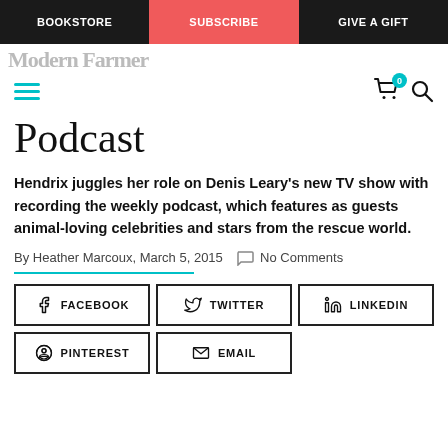BOOKSTORE | SUBSCRIBE | GIVE A GIFT
Podcast
Hendrix juggles her role on Denis Leary's new TV show with recording the weekly podcast, which features as guests animal-loving celebrities and stars from the rescue world.
By Heather Marcoux, March 5, 2015  No Comments
[Figure (other): Social share buttons: Facebook, Twitter, LinkedIn, Pinterest, Email]